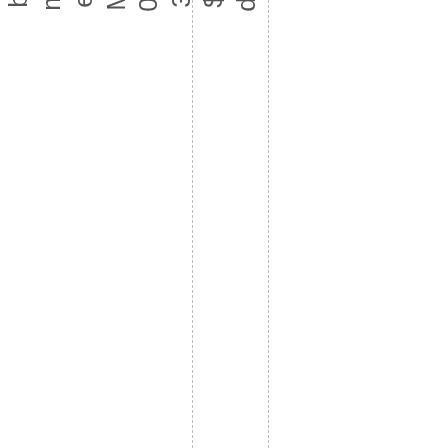d. $30/Members, $35/Non-Members. A